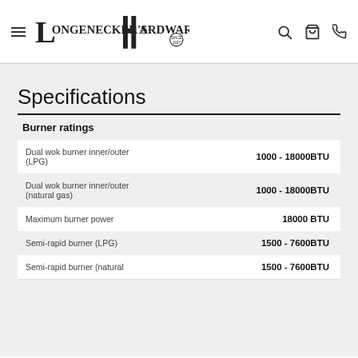Longenecker's Hardware Co. Since 1937
Specifications
Burner ratings
|  |  |
| --- | --- |
| Dual wok burner inner/outer (LPG) | 1000 - 18000BTU |
| Dual wok burner inner/outer (natural gas) | 1000 - 18000BTU |
| Maximum burner power | 18000 BTU |
| Semi-rapid burner (LPG) | 1500 - 7600BTU |
| Semi-rapid burner (natural ... | 1500 - 7600BTU |